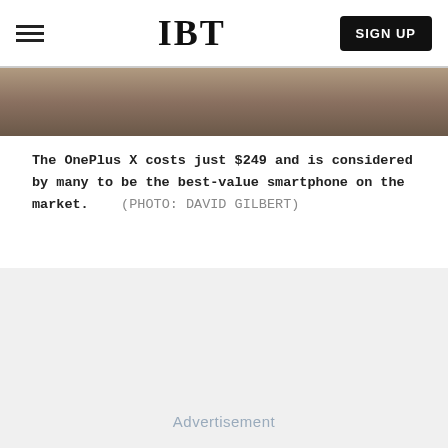IBT | SIGN UP
[Figure (photo): Partial photo of a person outdoors, cropped at the top of the page]
The OnePlus X costs just $249 and is considered by many to be the best-value smartphone on the market.   (PHOTO: DAVID GILBERT)
Advertisement